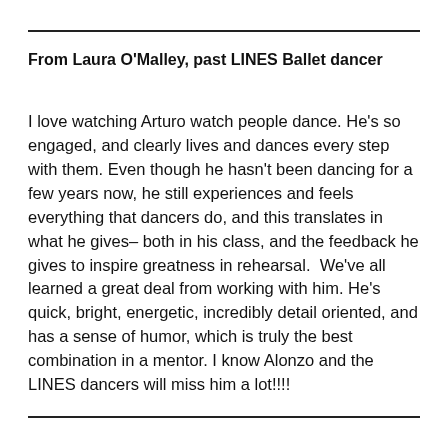From Laura O'Malley, past LINES Ballet dancer
I love watching Arturo watch people dance. He's so engaged, and clearly lives and dances every step with them. Even though he hasn't been dancing for a few years now, he still experiences and feels everything that dancers do, and this translates in what he gives– both in his class, and the feedback he gives to inspire greatness in rehearsal.  We've all learned a great deal from working with him. He's quick, bright, energetic, incredibly detail oriented, and has a sense of humor, which is truly the best combination in a mentor. I know Alonzo and the LINES dancers will miss him a lot!!!!